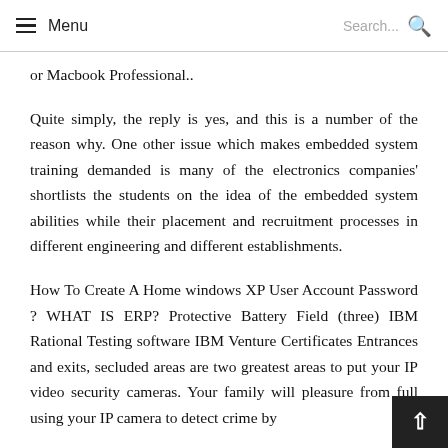Menu    Search...
or Macbook Professional..
Quite simply, the reply is yes, and this is a number of the reason why. One other issue which makes embedded system training demanded is many of the electronics companies' shortlists the students on the idea of the embedded system abilities while their placement and recruitment processes in different engineering and different establishments.
How To Create A Home windows XP User Account Password ? WHAT IS ERP? Protective Battery Field (three) IBM Rational Testing software IBM Venture Certificates Entrances and exits, secluded areas are two greatest areas to put your IP video security cameras. Your family will pleasure from full using your IP camera to detect crime by